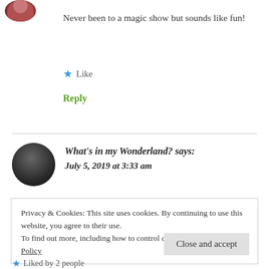[Figure (photo): Partial circular avatar image at top left, partially cropped]
Never been to a magic show but sounds like fun!
★ Like
Reply
What's in my Wonderland? says:
July 5, 2019 at 3:33 am
[Figure (photo): Circular avatar of a dark-haired woman in black and white]
Privacy & Cookies: This site uses cookies. By continuing to use this website, you agree to their use.
To find out more, including how to control cookies, see here: Cookie Policy
Close and accept
★ Liked by 2 people